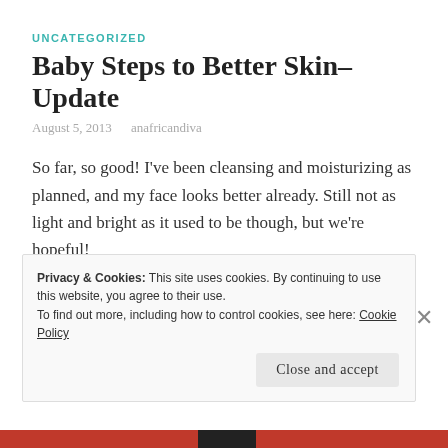UNCATEGORIZED
Baby Steps to Better Skin– Update
August 5, 2013   anafricandiva
So far, so good! I've been cleansing and moisturizing as planned, and my face looks better already. Still not as light and bright as it used to be though, but we're hopeful!
Tagged Baby Steps, Cleansing, Moisturizing, Skincare
Privacy & Cookies: This site uses cookies. By continuing to use this website, you agree to their use.
To find out more, including how to control cookies, see here: Cookie Policy
Close and accept